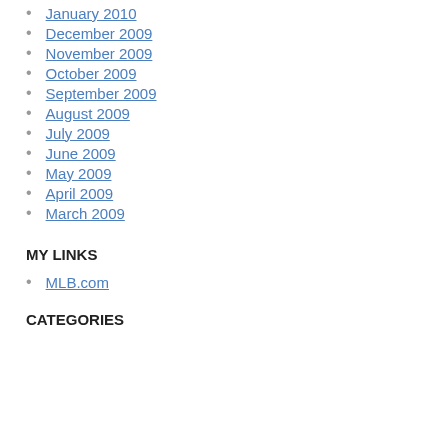January 2010
December 2009
November 2009
October 2009
September 2009
August 2009
July 2009
June 2009
May 2009
April 2009
March 2009
MY LINKS
MLB.com
CATEGORIES